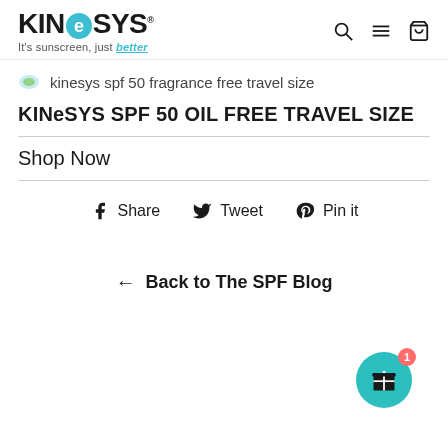[Figure (logo): KINeSYS logo with teal circular 'e', tagline 'It's sunscreen, just better']
kinesys spf 50 fragrance free travel size
KINeSYS SPF 50 OIL FREE TRAVEL SIZE
Shop Now
Share  Tweet  Pin it
← Back to The SPF Blog